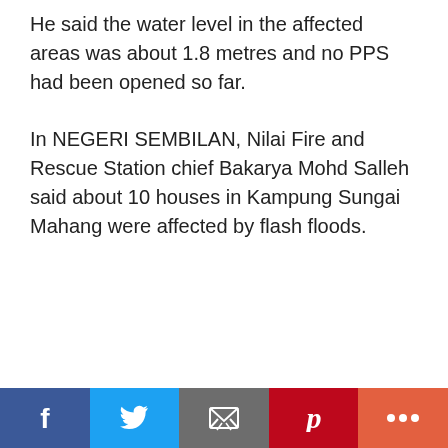He said the water level in the affected areas was about 1.8 metres and no PPS had been opened so far.
In NEGERI SEMBILAN, Nilai Fire and Rescue Station chief Bakarya Mohd Salleh said about 10 houses in Kampung Sungai Mahang were affected by flash floods.
[Figure (infographic): Social media share bar with Facebook, Twitter, Email, Pinterest, and More buttons]